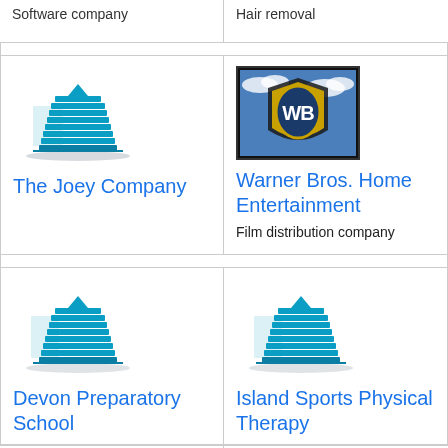Software company
Hair removal
[Figure (logo): Building icon for The Joey Company]
The Joey Company
[Figure (logo): Warner Bros. Home Entertainment shield logo screenshot]
Warner Bros. Home Entertainment
Film distribution company
[Figure (logo): Building icon for Devon Preparatory School]
Devon Preparatory School
[Figure (logo): Building icon for Island Sports Physical Therapy]
Island Sports Physical Therapy